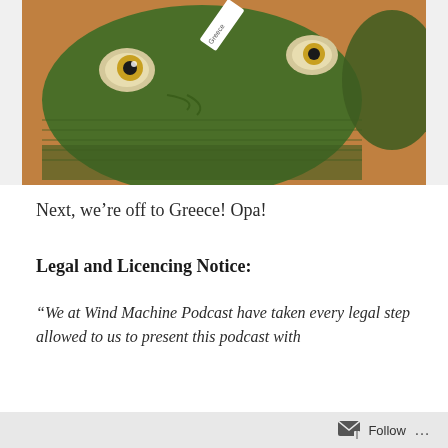[Figure (photo): Photo of green knit beanie hat with embroidered frog face design and a label tag reading 'Greece', placed on a wooden surface]
Next, we're off to Greece! Opa!
Legal and Licencing Notice:
“We at Wind Machine Podcast have taken every legal step allowed to us to present this podcast with
Follow ...